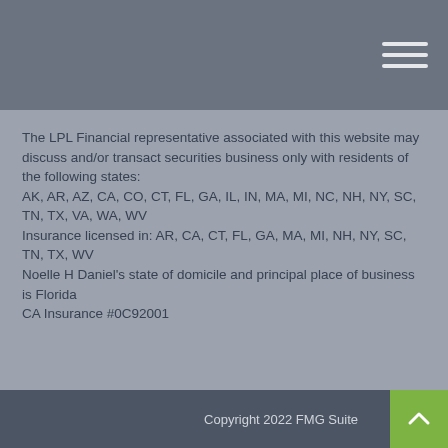[Figure (other): Dark gray header bar with hamburger menu icon (three horizontal lines) in the top right corner]
The LPL Financial representative associated with this website may discuss and/or transact securities business only with residents of the following states: AK, AR, AZ, CA, CO, CT, FL, GA, IL, IN, MA, MI, NC, NH, NY, SC, TN, TX, VA, WA, WV
Insurance licensed in: AR, CA, CT, FL, GA, MA, MI, NH, NY, SC, TN, TX, WV
Noelle H Daniel's state of domicile and principal place of business is Florida
CA Insurance #0C92001
Copyright 2022 FMG Suite